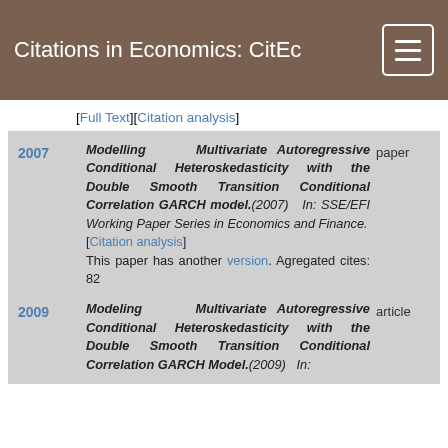Citations in Economics: CitEc
[Full Text][Citation analysis]
| Year | Title/Details | Type |
| --- | --- | --- |
| 2007 | Modelling Multivariate Autoregressive Conditional Heteroskedasticity with the Double Smooth Transition Conditional Correlation GARCH model.(2007) In: SSE/EFI Working Paper Series in Economics and Finance. [Citation analysis] This paper has another version. Agregated cites: 82 | paper |
| 2009 | Modeling Multivariate Autoregressive Conditional Heteroskedasticity with the Double Smooth Transition Conditional Correlation GARCH Model.(2009) In: | article |